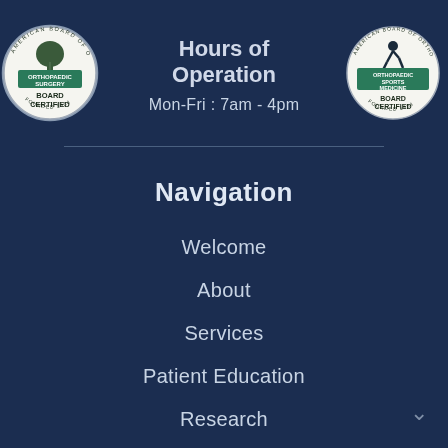[Figure (logo): American Board of Orthopaedic Surgery - Orthopaedic Surgery Board Certified seal/badge (circular, left)]
Hours of Operation
Mon-Fri : 7am - 4pm
[Figure (logo): American Board of Orthopaedic Surgery - Orthopaedic Sports Medicine Board Certified seal/badge (circular, right)]
Navigation
Welcome
About
Services
Patient Education
Research
Appointments